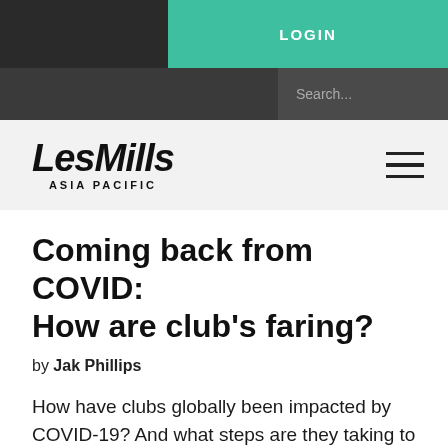LOGIN
[Figure (screenshot): Search bar input field]
[Figure (logo): Les Mills Asia Pacific logo with hamburger menu icon]
Coming back from COVID: How are club's faring?
by Jak Phillips
How have clubs globally been impacted by COVID-19? And what steps are they taking to fight back to full fitness? A new 84-page report from ClubIntel has